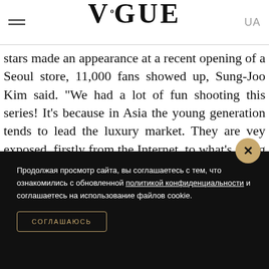VOGUE UA
stars made an appearance at a recent opening of a Seoul store, 11,000 fans showed up, Sung-Joo Kim said. “We had a lot of fun shooting this series! It’s because in Asia the young generation tends to lead the luxury market. They are vey exposed, firstly from the Internet, to what’s going on with all the brands. Secondly, they are very brand conscious. They are born with a computer and the way they relate to luxury is so different from the traditional way.”
Продолжая просмотр сайта, вы соглашаетесь с тем, что ознакомились с обновленной политикой конфиденциальности и соглашаетесь на использование файлов cookie.
СОГЛАШАЮСЬ